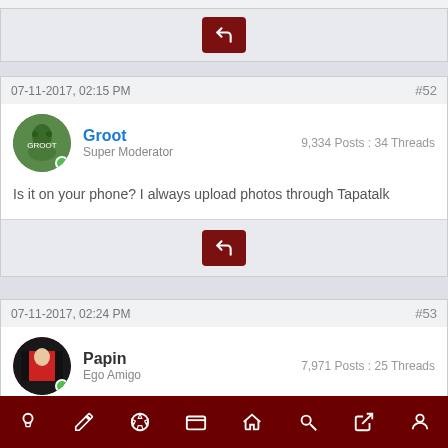07-11-2017, 02:15 PM  #52
Groot
Super Moderator
9,334 Posts : 34 Threads
Is it on your phone? I always upload photos through Tapatalk
07-11-2017, 02:24 PM  #53
Papin
Ego Amigo
7,971 Posts : 25 Threads
You can use New Reply then the Imgur box at the top.